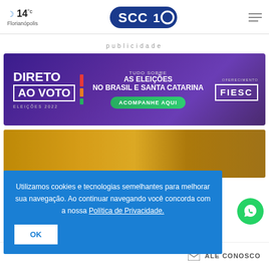14°C Florianópolis — SCC10
publicidade
[Figure (illustration): Banner advertisement: DIRETO AO VOTO - ELEIÇÕES 2022. Tudo sobre AS ELEIÇÕES NO BRASIL E SANTA CATARINA. ACOMPANHE AQUI. Oferecimento FIESC. Purple gradient background.]
[Figure (photo): Gold/yellow toned photo background image, partially visible behind cookie consent banner.]
Utilizamos cookies e tecnologias semelhantes para melhorar sua navegação. Ao continuar navegando você concorda com a nossa Política de Privacidade.
OK
ALE CONOSCO